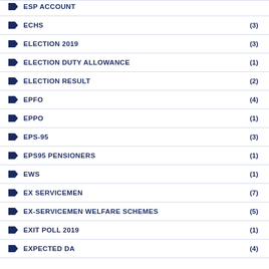ECHS (3)
ELECTION 2019 (3)
ELECTION DUTY ALLOWANCE (1)
ELECTION RESULT (2)
EPFO (4)
EPPO (1)
EPS-95 (3)
EPS95 PENSIONERS (1)
EWS (1)
EX SERVICEMEN (7)
EX-SERVICEMEN WELFARE SCHEMES (5)
EXIT POLL 2019 (1)
EXPECTED DA (4)